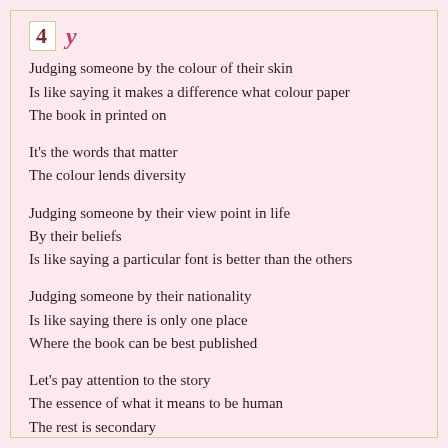4
Judging someone by the colour of their skin
Is like saying it makes a difference what colour paper
The book in printed on
It's the words that matter
The colour lends diversity
Judging someone by their view point in life
By their beliefs
Is like saying a particular font is better than the others
Judging someone by their nationality
Is like saying there is only one place
Where the book can be best published
Let's pay attention to the story
The essence of what it means to be human
The rest is secondary
May 4th, 2017